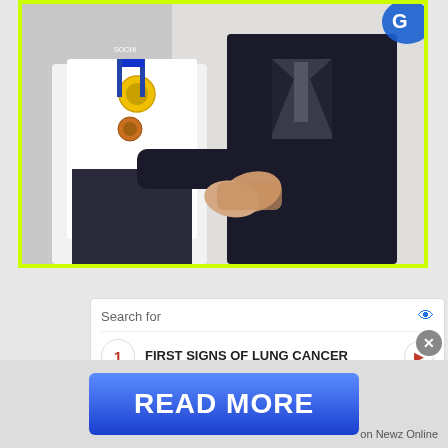[Figure (photo): Two people shaking hands. Person on left wears a white jacket with Olympic-style medals around their neck (Sochi Olympics lanyard visible). Person on right wears a dark suit. Yellow-green border around the photo.]
[Figure (infographic): Search ad widget with 'Search for' heading and two items: 1. FIRST SIGNS OF LUNG CANCER, 2. HAIRSTYLES FOR FINE THIN HAIR. Blue eye icon top right. Red numbered circles. Arrow button on right side of item 1.]
[Figure (infographic): READ MORE button in blue gradient, branded 'on Newz Online'. Accessibility icon (blue circle with person figure) on left. Black video thumbnail area on right with X close button.]